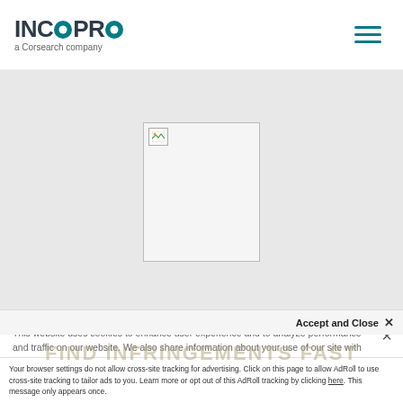[Figure (logo): Incopro logo - a Corsearch company, with teal circle in place of the O]
[Figure (illustration): Hamburger menu icon with three teal horizontal lines]
[Figure (photo): Gray hero section with a broken/missing image placeholder in the center]
This website uses cookies to enhance user experience and to analyze performance and traffic on our website. We also share information about your use of our site with our social media, advertising and analytics partners.
FIND INFRINGEMENTS FAST
Accept and Close ×
Your browser settings do not allow cross-site tracking for advertising. Click on this page to allow AdRoll to use cross-site tracking to tailor ads to you. Learn more or opt out of this AdRoll tracking by clicking here. This message only appears once.